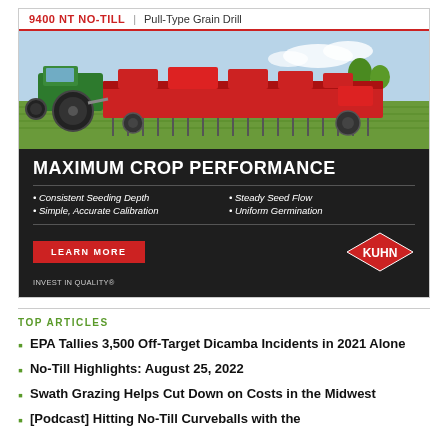[Figure (illustration): KUHN 9400 NT NO-TILL Pull-Type Grain Drill advertisement. Shows a red grain drill implement being pulled by a green tractor in a field. Dark section below with text: MAXIMUM CROP PERFORMANCE, bullet points: Consistent Seeding Depth, Steady Seed Flow, Simple Accurate Calibration, Uniform Germination. Red LEARN MORE button. KUHN diamond logo. INVEST IN QUALITY tagline.]
TOP ARTICLES
EPA Tallies 3,500 Off-Target Dicamba Incidents in 2021 Alone
No-Till Highlights: August 25, 2022
Swath Grazing Helps Cut Down on Costs in the Midwest
[Podcast] Hitting No-Till Curveballs with the